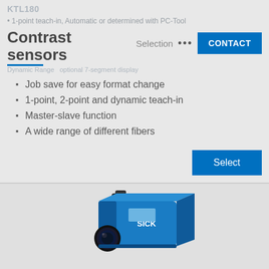KTL180
• 1-point teach-in, Automatic or determined with PC-Tool
Contrast sensors
Selection ... CONTACT
Dynamic Range
optional 7-segment display
Job save for easy format change
1-point, 2-point and dynamic teach-in
Master-slave function
A wide range of different fibers
Select
[Figure (photo): Blue rectangular contrast sensor (KT8) with a round lens on the front, black cable connector on top, and SICK branding on the side.]
KT8